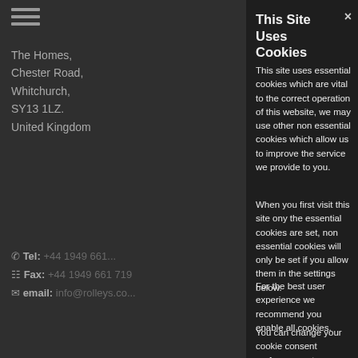The Homes, Chester Road, Whitchurch, SY13 1LZ. United Kingdom
Tel:
Fax:
email: info@...
[Figure (screenshot): Barclaycard powered logo partially visible]
[Figure (logo): Symantec logo partially visible]
IP Data Powered B...
This Site Uses Cookies
This site uses essential cookies which are vital to the correct operation of this website, we may use other non essential cookies which allow us to improve the service we provide to you.
When you first visit this site ony the essential cookies are set, non essential cookies will only be set if you allow them in the settings below.
For the best user experience we recommend you enable all cookies.
You can change your cookie consent preferences at any time by using the 'Cookie Settings' menu option located at